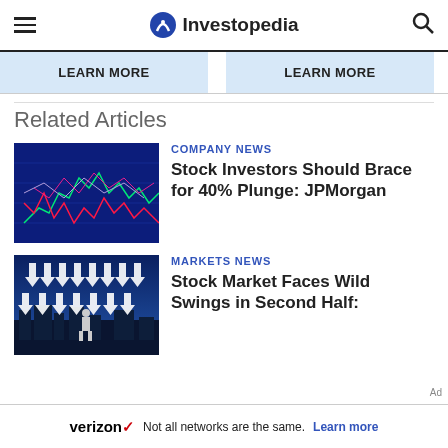Investopedia
LEARN MORE | LEARN MORE
Related Articles
[Figure (photo): Stock market chart with candlesticks and lines on blue background]
COMPANY NEWS
Stock Investors Should Brace for 40% Plunge: JPMorgan
[Figure (photo): Person standing in front of falling arrows representing stock market decline]
MARKETS NEWS
Stock Market Faces Wild Swings in Second Half:
verizon Not all networks are the same. Learn more